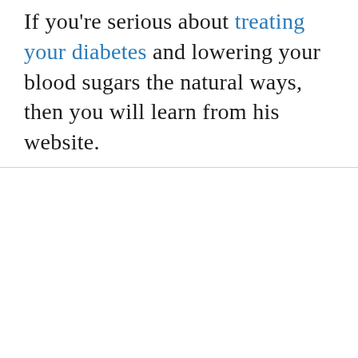If you're serious about treating your diabetes and lowering your blood sugars the natural ways, then you will learn from his website.